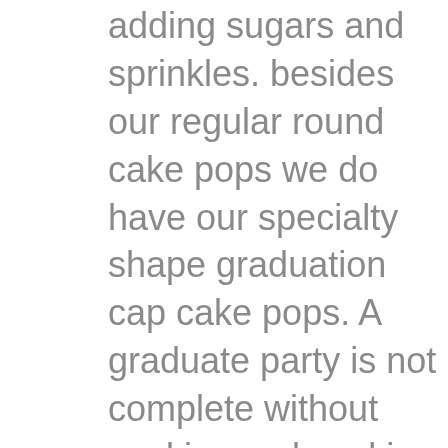adding sugars and sprinkles. besides our regular round cake pops we do have our specialty shape graduation cap cake pops. A graduate party is not complete without cookies and cookies have become one of our specialties! We do make them in various sizes and do have cut out shapes as well.

We are able to do any logo school designs for the University of Cincinnati and would love provide UC items for you. Above are a couple of our UC designs. Please call us at 513-984-1100 with questions or email us at